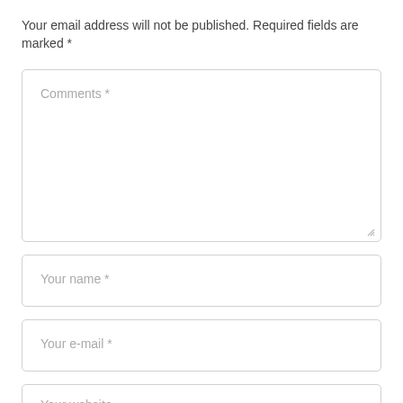Your email address will not be published. Required fields are marked *
[Figure (other): Comments text area form field with placeholder text 'Comments *' and resize handle]
[Figure (other): Your name input field with placeholder text 'Your name *']
[Figure (other): Your e-mail input field with placeholder text 'Your e-mail *']
[Figure (other): Your website input field partially visible at bottom with placeholder text 'Your website']